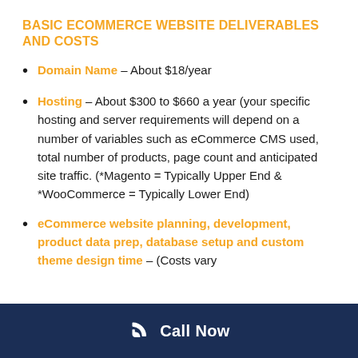BASIC ECOMMERCE WEBSITE DELIVERABLES AND COSTS
Domain Name – About $18/year
Hosting – About $300 to $660 a year (your specific hosting and server requirements will depend on a number of variables such as eCommerce CMS used, total number of products, page count and anticipated site traffic. (*Magento = Typically Upper End & *WooCommerce = Typically Lower End)
eCommerce website planning, development, product data prep, database setup and custom theme design time – (Costs vary
Call Now